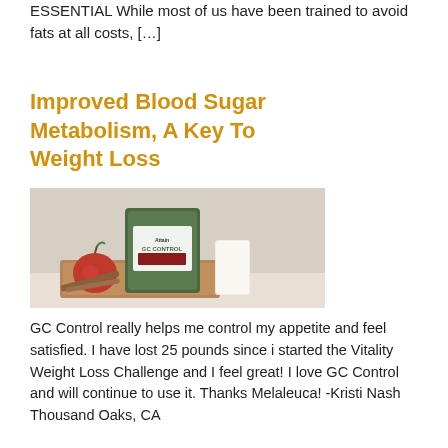ESSENTIAL While most of us have been trained to avoid fats at all costs, […]
Improved Blood Sugar Metabolism, A Key To Weight Loss
[Figure (photo): Product photo showing Attain GC Control supplement pouch alongside a glass of milk, a red apple, and cinnamon sticks on a wooden cutting board against a light beige background.]
GC Control really helps me control my appetite and feel satisfied. I have lost 25 pounds since i started the Vitality Weight Loss Challenge and I feel great! I love GC Control and will continue to use it. Thanks Melaleuca! -Kristi Nash Thousand Oaks, CA